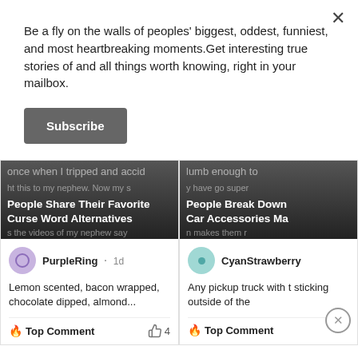Be a fly on the walls of peoples' biggest, oddest, funniest, and most heartbreaking moments.Get interesting true stories of and all things worth knowing, right in your mailbox.
Subscribe
[Figure (screenshot): Card showing article: 'People Share Their Favorite Curse Word Alternatives' with background image text and comment from PurpleRing]
[Figure (screenshot): Card showing article: 'People Break Down Car Accessories Ma...' with background image text and comment from CyanStrawberry]